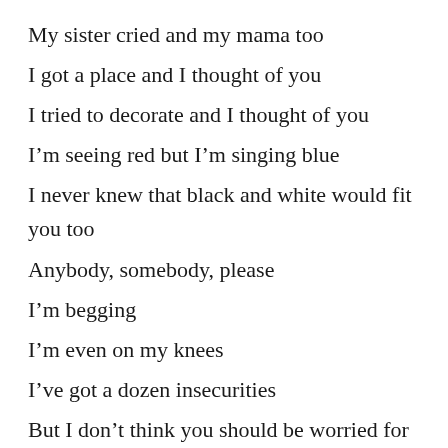My sister cried and my mama too
I got a place and I thought of you
I tried to decorate and I thought of you
I’m seeing red but I’m singing blue
I never knew that black and white would fit you too
Anybody, somebody, please
I’m begging
I’m even on my knees
I’ve got a dozen insecurities
But I don’t think you should be worried for me